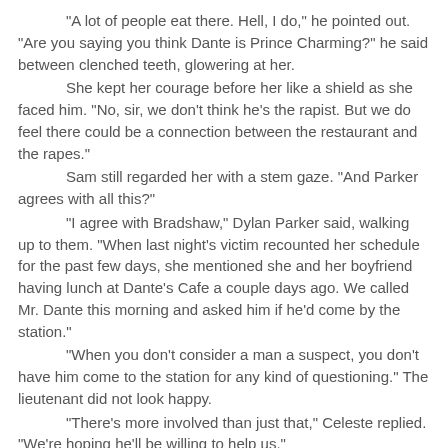"A lot of people eat there. Hell, I do," he pointed out. "Are you saying you think Dante is Prince Charming?" he said between clenched teeth, glowering at her.
	She kept her courage before her like a shield as she faced him. "No, sir, we don't think he's the rapist. But we do feel there could be a connection between the restaurant and the rapes."
	Sam still regarded her with a stem gaze. "And Parker agrees with all this?"
	"I agree with Bradshaw," Dylan Parker said, walking up to them. "When last night's victim recounted her schedule for the past few days, she mentioned she and her boyfriend having lunch at Dante's Cafe a couple days ago. We called Mr. Dante this morning and asked him if he'd come by the station."
	"When you don't consider a man a suspect, you don't have him come to the station for any kind of questioning." The lieutenant did not look happy.
	"There's more involved than just that," Celeste replied. "We're hoping he'll be willing to help us."
	The lieutenant cocked his head as he listened to her plan. He finally nodded. "If you screw up, it will all be on your head." With that, he walked off.